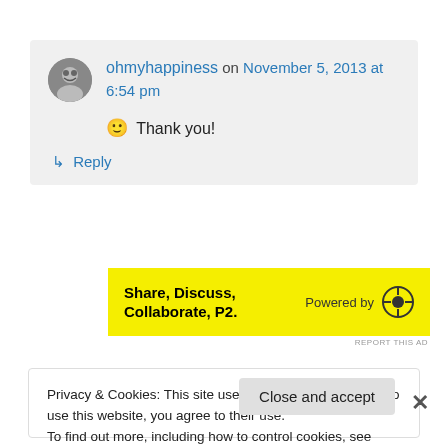ohmyhappiness on November 5, 2013 at 6:54 pm
🙂 Thank you!
↳ Reply
[Figure (other): Advertisement banner with yellow background: 'Share, Discuss, Collaborate, P2.' Powered by WordPress logo]
REPORT THIS AD
Privacy & Cookies: This site uses cookies. By continuing to use this website, you agree to their use.
To find out more, including how to control cookies, see here: Cookie Policy
Close and accept